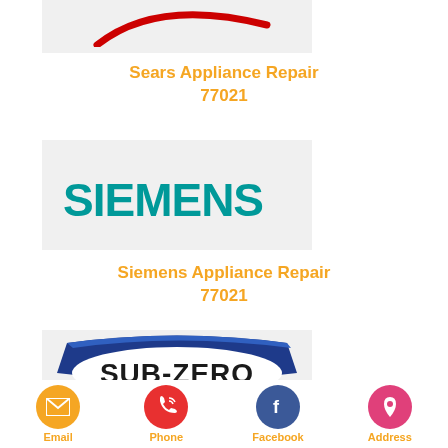[Figure (logo): Sears logo with red swoosh curve on light gray background]
Sears Appliance Repair
77021
[Figure (logo): Siemens logo with teal/green text SIEMENS on light gray background]
Siemens Appliance Repair
77021
[Figure (logo): Sub-Zero logo with blue badge shape and bold black text SUB-ZERO on light gray background]
Email  Phone  Facebook  Address